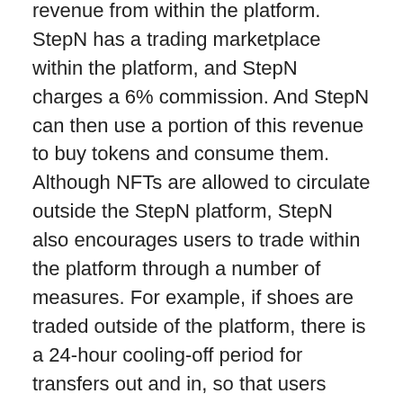revenue from within the platform. StepN has a trading marketplace within the platform, and StepN charges a 6% commission. And StepN can then use a portion of this revenue to buy tokens and consume them. Although NFTs are allowed to circulate outside the StepN platform, StepN also encourages users to trade within the platform through a number of measures. For example, if shoes are traded outside of the platform, there is a 24-hour cooling-off period for transfers out and in, so that users cannot earn movement revenue through shoes during this period.
[Figure (illustration): Illustration of a person running with a smartphone showing a green bar, suggesting the StepN move-to-earn concept.]